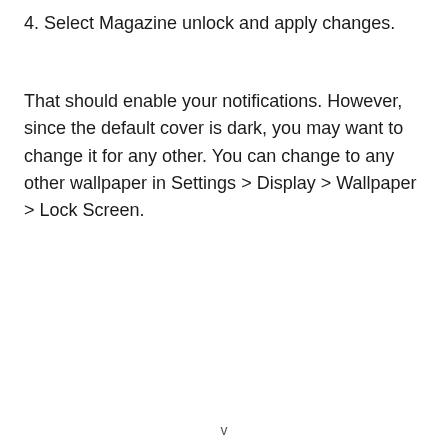4. Select Magazine unlock and apply changes.
That should enable your notifications. However, since the default cover is dark, you may want to change it for any other. You can change to any other wallpaper in Settings > Display > Wallpaper > Lock Screen.
v